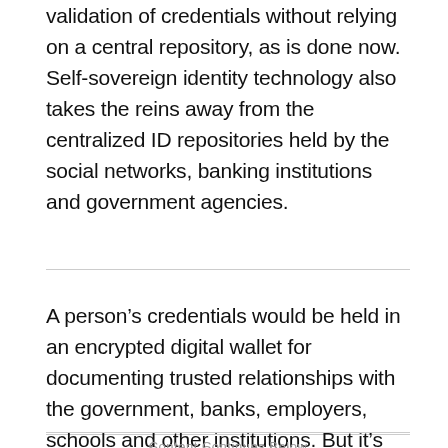validation of credentials without relying on a central repository, as is done now. Self-sovereign identity technology also takes the reins away from the centralized ID repositories held by the social networks, banking institutions and government agencies.
Content Continues Below
A person's credentials would be held in an encrypted digital wallet for documenting trusted relationships with the government, banks, employers, schools and other institutions. But it's important to note that self-sovereign ID systems are not self-certifying. The onus on whom to